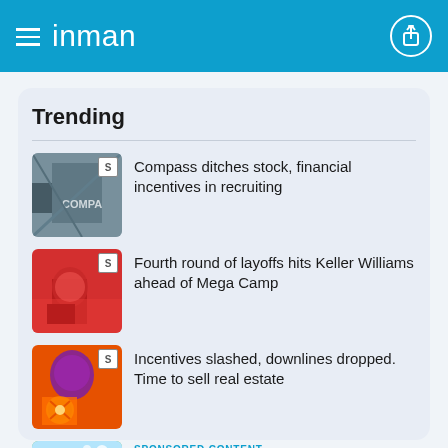inman
Trending
Compass ditches stock, financial incentives in recruiting
Fourth round of layoffs hits Keller Williams ahead of Mega Camp
Incentives slashed, downlines dropped. Time to sell real estate
SPONSORED CONTENT
Crypto is still trending: Here's what your clients need to know